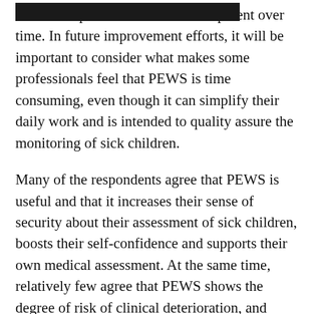follow the patient's clinical development over time. In future improvement efforts, it will be important to consider what makes some professionals feel that PEWS is time consuming, even though it can simplify their daily work and is intended to quality assure the monitoring of sick children.
Many of the respondents agree that PEWS is useful and that it increases their sense of security about their assessment of sick children, boosts their self-confidence and supports their own medical assessment. At the same time, relatively few agree that PEWS shows the degree of risk of clinical deterioration, and almost half agree that they would have recognised the risk just as early without PEWS.
One explanation for these findings could be that the statements were not worded clearly, especially because